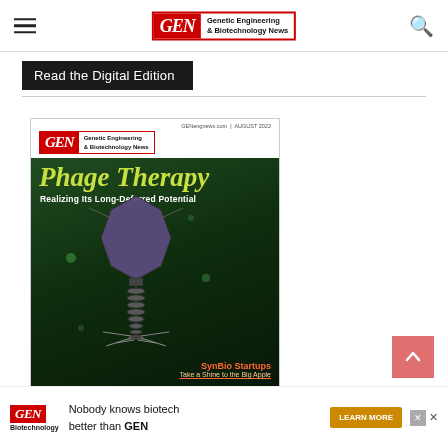GEN - Genetic Engineering & Biotechnology News
Read the Digital Edition
[Figure (photo): GEN magazine cover for August 2022 featuring 'Phage Therapy: Realizing Its Long-Deferred Potential' with a 3D illustration of a bacteriophage on a dark green background. Also includes text 'SynBio Startups Take a Shine to the Big Apple'.]
[Figure (other): Advertisement banner: GEN Biotechnology - Nobody knows biotech better than GEN. LEARN MORE button.]